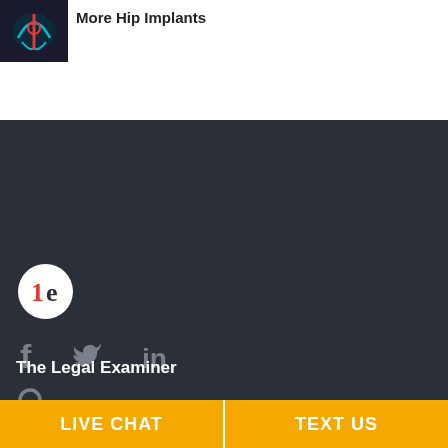[Figure (photo): Thumbnail image of hip implant X-ray in teal/dark colors]
More Hip Implants
[Figure (logo): Legal Examiner logo — white circle with red '1' and dark 'e' letters]
[Figure (infographic): Social media icons: Facebook (f), Twitter (bird), LinkedIn (in) in gray]
[Figure (infographic): Search magnifying glass icon in gray]
MEMBER SIGN IN
The Legal Examiner
LIVE CHAT  |  TEXT US